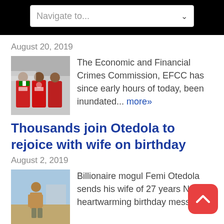Navigate to...
August 20, 2019
[Figure (photo): People in red EFCC uniforms/jackets standing near a vehicle]
The Economic and Financial Crimes Commission, EFCC has since early hours of today, been inundated... more»
Thousands join Otedola to rejoice with wife on birthday
August 2, 2019
[Figure (photo): A person (Femi Otedola) standing outdoors, appears to be on a boat or harbor area]
Billionaire mogul Femi Otedola sends his wife of 27 years Nana a heartwarming birthday message